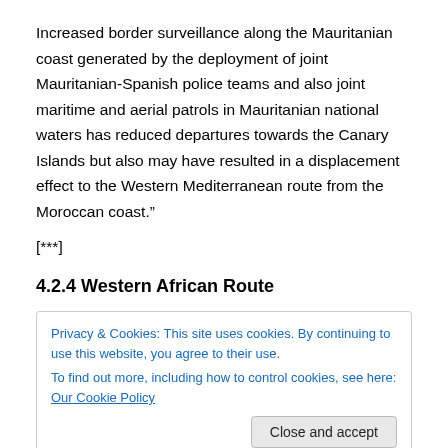Increased border surveillance along the Mauritanian coast generated by the deployment of joint Mauritanian-Spanish police teams and also joint maritime and aerial patrols in Mauritanian national waters has reduced departures towards the Canary Islands but also may have resulted in a displacement effect to the Western Mediterranean route from the Moroccan coast.”
[***]
4.2.4 Western African Route
Privacy & Cookies: This site uses cookies. By continuing to use this website, you agree to their use.
To find out more, including how to control cookies, see here: Our Cookie Policy
[Close and accept button]
The good cooperation among the Spanish, Senegalese